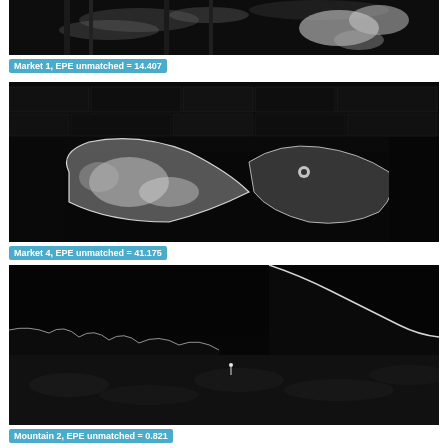[Figure (photo): Grayscale optical flow error image for Market 1 scene, showing hands and blurred motion artifacts in dark tones]
Market 1, EPE unmatched = 14.407
[Figure (photo): Grayscale optical flow error image for Market 4 scene, showing two cats facing each other with bright edges on dark background and stone wall]
Market 4, EPE unmatched = 41.175
[Figure (photo): Grayscale optical flow error image for Mountain 2 scene, mostly dark with silhouette ridge line and bright outline edge]
Mountain 2, EPE unmatched = 0.821